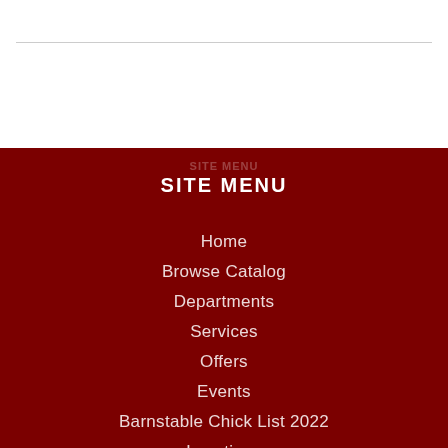SITE MENU
Home
Browse Catalog
Departments
Services
Offers
Events
Barnstable Chick List 2022
Locations